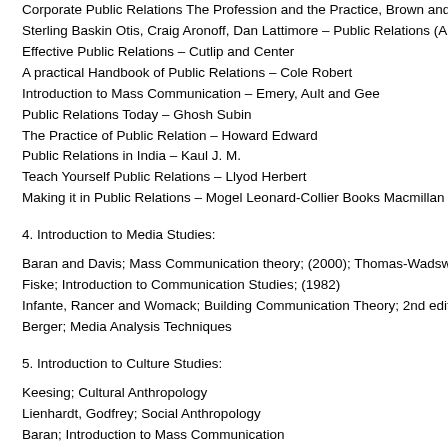Corporate Public Relations The Profession and the Practice, Brown and Benchma…
Sterling Baskin Otis, Craig Aronoff, Dan Lattimore – Public Relations (A Times Mi…
Effective Public Relations – Cutlip and Center
A practical Handbook of Public Relations – Cole Robert
Introduction to Mass Communication – Emery, Ault and Gee
Public Relations Today – Ghosh Subin
The Practice of Public Relation – Howard Edward
Public Relations in India – Kaul J. M.
Teach Yourself Public Relations – Llyod Herbert
Making it in Public Relations – Mogel Leonard-Collier Books Macmillan Publishing…
4. Introduction to Media Studies:
Baran and Davis; Mass Communication theory; (2000); Thomas-Wadsworth
Fiske; Introduction to Communication Studies; (1982)
Infante, Rancer and Womack; Building Communication Theory; 2nd edition; (1993…
Berger; Media Analysis Techniques
5. Introduction to Culture Studies:
Keesing; Cultural Anthropology
Lienhardt, Godfrey; Social Anthropology
Baran; Introduction to Mass Communication